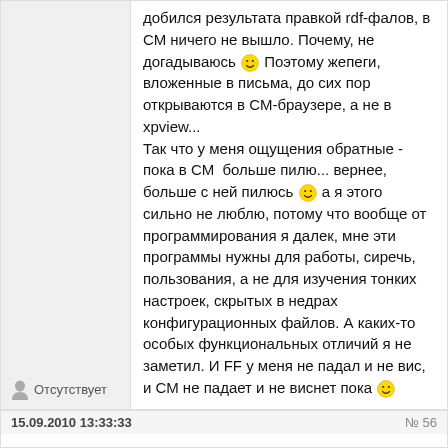добился результата правкой rdf-фалов, в СМ ничего не вышло. Почему, не догадываюсь 🙂 Поэтому жепеги, вложенные в письма, до сих пор открываются в СМ-браузере, а не в xpview...
Так что у меня ощущения обратные - пока в СМ  больше пилю... вернее, больше с ней пилюсь 🙂 а я этого сильно не люблю, потому что вообще от программирования я далек, мне эти программы нужны для работы, сиречь, пользования, а не для изучения тонких настроек, скрытых в недрах конфигурационных файлов. А каких-то особых функциональных отличий я не заметил. И FF у меня не падал и не вис, и СМ не падает и не виснет пока 🙂
Отсутствует
15.09.2010 13:33:33   № 56